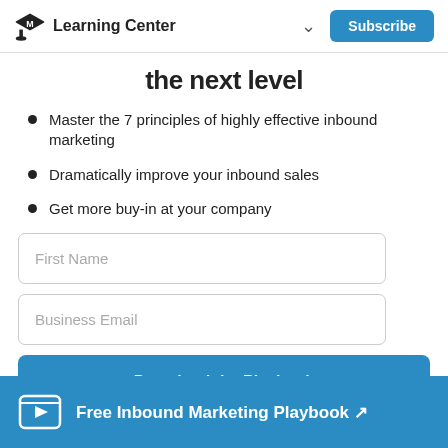Learning Center  Subscribe
the next level
Master the 7 principles of highly effective inbound marketing
Dramatically improve your inbound sales
Get more buy-in at your company
First Name
Business Email
Download the Playbook
Free Inbound Marketing Playbook ↗